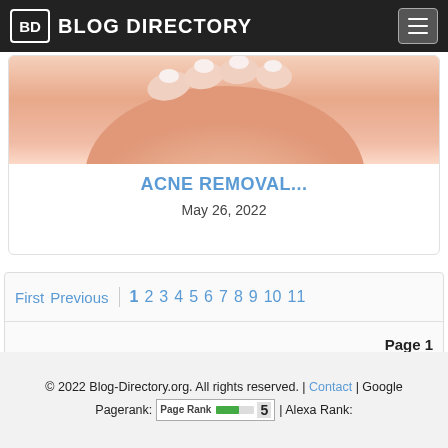BD BLOG DIRECTORY
[Figure (photo): Close-up photo of skin with hands touching face, related to acne removal content]
ACNE REMOVAL...
May 26, 2022
First  Previous  1  2  3  4  5  6  7  8  9  10  11
Page 1
© 2022 Blog-Directory.org. All rights reserved. | Contact | Google Pagerank:  | Alexa Rank: